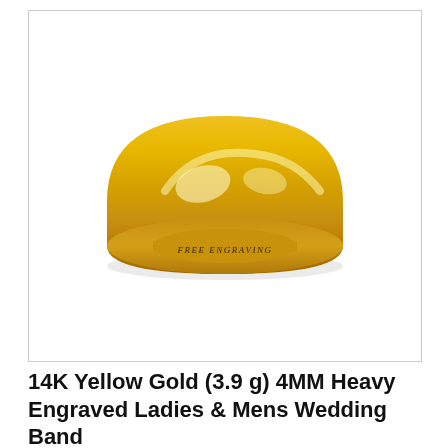[Figure (photo): A polished 14K yellow gold domed wedding band ring shown at an angle with 'FREE ENGRAVING' text engraved on the inside visible lower portion, displayed on a white background inside a light gray bordered box.]
14K Yellow Gold (3.9 g) 4MM Heavy Engraved Ladies & Mens Wedding Band